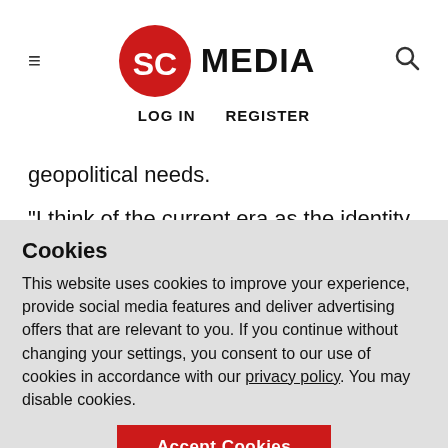SC MEDIA — LOG IN  REGISTER
geopolitical needs.
"I think of the current era as the identity of identity as a control point, where you have centralized control systems, that entering that era that identity trust traffic was distributed, interconnected and highly intelligent. That's where I think the next five to 10 years of really interesting innovation and work for all of us across the industry are," he
Cookies
This website uses cookies to improve your experience, provide social media features and deliver advertising offers that are relevant to you. If you continue without changing your settings, you consent to our use of cookies in accordance with our privacy policy. You may disable cookies.